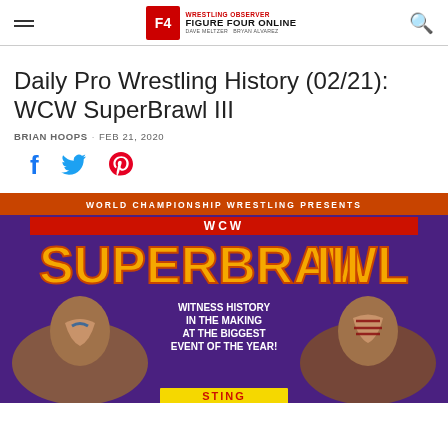Wrestling Observer Figure Four Online – navigation header with hamburger menu, logo, and search icon
Daily Pro Wrestling History (02/21): WCW SuperBrawl III
BRIAN HOOPS · FEB 21, 2020
[Figure (other): Social media share icons: Facebook, Twitter, Pinterest]
[Figure (photo): WCW SuperBrawl III event poster on purple background. Text reads: WORLD CHAMPIONSHIP WRESTLING PRESENTS WCW SUPERBRAWL III. WITNESS HISTORY IN THE MAKING AT THE BIGGEST EVENT OF THE YEAR! STING. Features two wrestlers with face paint.]